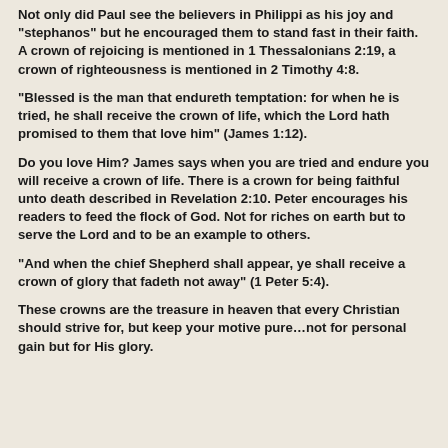Not only did Paul see the believers in Philippi as his joy and “stephanos” but he encouraged them to stand fast in their faith. A crown of rejoicing is mentioned in 1 Thessalonians 2:19, a crown of righteousness is mentioned in 2 Timothy 4:8.
“Blessed is the man that endureth temptation: for when he is tried, he shall receive the crown of life, which the Lord hath promised to them that love him” (James 1:12).
Do you love Him? James says when you are tried and endure you will receive a crown of life. There is a crown for being faithful unto death described in Revelation 2:10. Peter encourages his readers to feed the flock of God. Not for riches on earth but to serve the Lord and to be an example to others.
“And when the chief Shepherd shall appear, ye shall receive a crown of glory that fadeth not away” (1 Peter 5:4).
These crowns are the treasure in heaven that every Christian should strive for, but keep your motive pure…not for personal gain but for His glory.